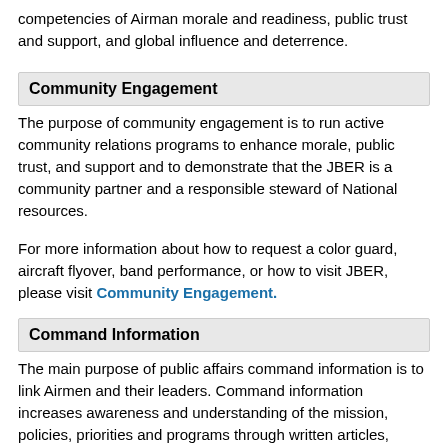competencies of Airman morale and readiness, public trust and support, and global influence and deterrence.
Community Engagement
The purpose of community engagement is to run active community relations programs to enhance morale, public trust, and support and to demonstrate that the JBER is a community partner and a responsible steward of National resources.
For more information about how to request a color guard, aircraft flyover, band performance, or how to visit JBER, please visit Community Engagement.
Command Information
The main purpose of public affairs command information is to link Airmen and their leaders. Command information increases awareness and understanding of the mission, policies, priorities and programs through written articles, official photography and video documentation, and maintains the installation's various social media outlets.
Studio Photography